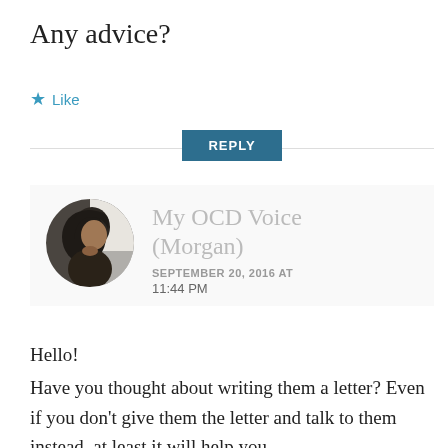Any advice?
★ Like
REPLY
[Figure (photo): Circular avatar photo of a woman with dark hair, dimly lit, resting chin on hand.]
My OCD Voice (Morgan)
SEPTEMBER 20, 2016 AT 11:44 PM
Hello!
Have you thought about writing them a letter? Even if you don't give them the letter and talk to them instead, at least it will help you